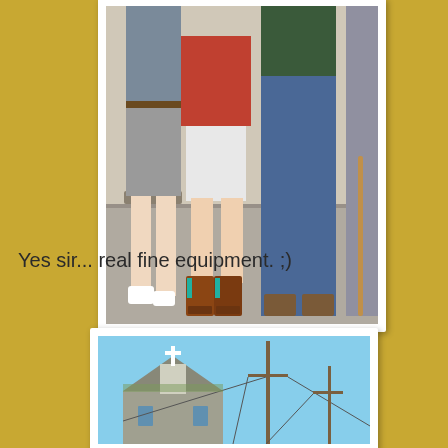[Figure (photo): Photo showing lower bodies/legs of several people standing on pavement. One person wearing cowboy boots, another in sneakers, another in jeans and work boots. Shot from waist down.]
Yes sir... real fine equipment. ;)
[Figure (photo): Photo of a small white church with a cross on top and a bell tower, with utility poles and power lines visible against a blue sky.]